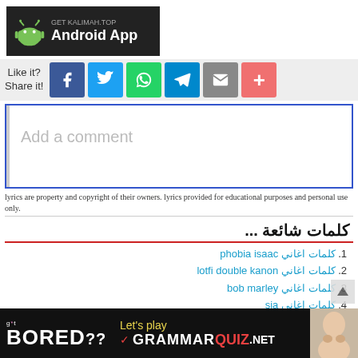[Figure (logo): Android app banner: GET KALIMAH.TOP Android App on dark background with Android robot icon]
[Figure (infographic): Like it? Share it! social share buttons: Facebook, Twitter, WhatsApp, Telegram, Email, Plus]
Add a comment
lyrics are property and copyright of their owners. lyrics provided for educational purposes and personal use only.
كلمات شائعة ...
1. كلمات اغاني phobia isaac
2. كلمات اغاني lotfi double kanon
3. كلمات اغاني bob marley
4. كلمات اغاني sia
5. اغاني كلمات علي البريكي – العين والنظرة
[Figure (infographic): Bottom ad banner: got BORED?? Let's play GRAMMARQUIZ.NET with a photo of a child on the right]